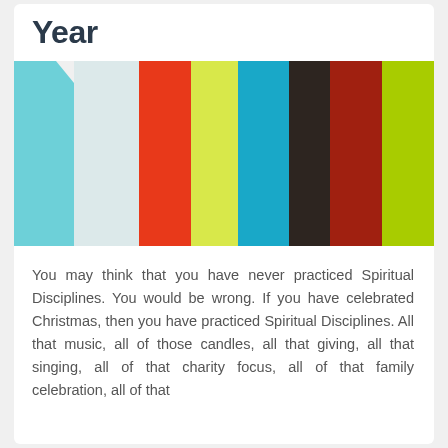Year
[Figure (illustration): Color palette showing vertical stripes in teal, light blue/white, orange-red, yellow-green, cyan/teal, dark brown/black, dark red, and lime green]
You may think that you have never practiced Spiritual Disciplines. You would be wrong. If you have celebrated Christmas, then you have practiced Spiritual Disciplines. All that music, all of those candles, all that giving, all that singing, all of that charity focus, all of that family celebration, all of that